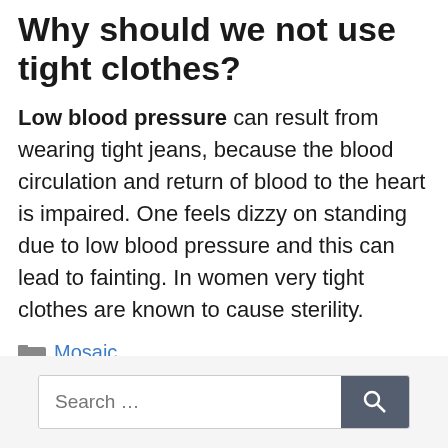Why should we not use tight clothes?
Low blood pressure can result from wearing tight jeans, because the blood circulation and return of blood to the heart is impaired. One feels dizzy on standing due to low blood pressure and this can lead to fainting. In women very tight clothes are known to cause sterility.
Mosaic
Search ...